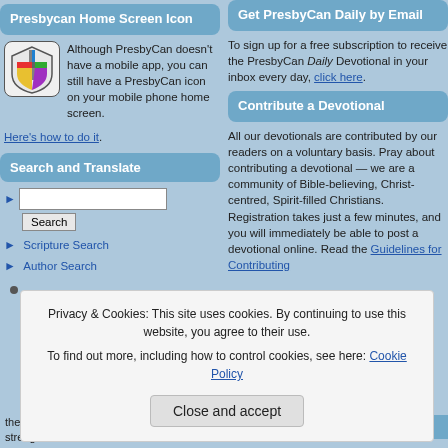Presbycan Home Screen Icon
[Figure (logo): PresbyCan logo icon - colorful shield with cross design]
Although PresbyCan doesn't have a mobile app, you can still have a PresbyCan icon on your mobile phone home screen. Here's how to do it.
Search and Translate
Search input field and Search button
Scripture Search
Author Search
Get PresbyCan Daily by Email
To sign up for a free subscription to receive the PresbyCan Daily Devotional in your inbox every day, click here.
Contribute a Devotional
All our devotionals are contributed by our readers on a voluntary basis. Pray about contributing a devotional — we are a community of Bible-believing, Christ-centred, Spirit-filled Christians. Registration takes just a few minutes, and you will immediately be able to post a devotional online. Read the Guidelines for Contributing
Privacy & Cookies: This site uses cookies. By continuing to use this website, you agree to their use.
To find out more, including how to control cookies, see here: Cookie Policy
Close and accept
the ministry. Pray that God strengthens and unifies the Fulani
Today's Daily Manna